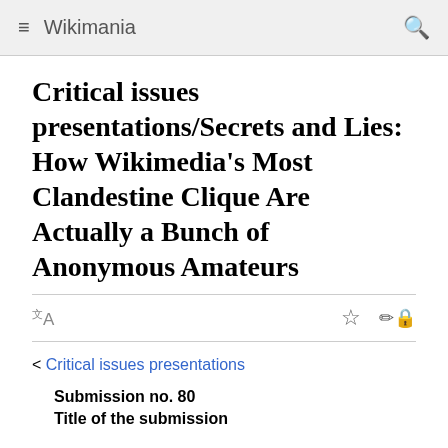Wikimania
Critical issues presentations/Secrets and Lies: How Wikimedia's Most Clandestine Clique Are Actually a Bunch of Anonymous Amateurs
< Critical issues presentations
Submission no. 80
Title of the submission
Secrets and Lies: How Wikimedia's Most Clandestine Clique Are Actually a Bunch of Anonymous Amateurs